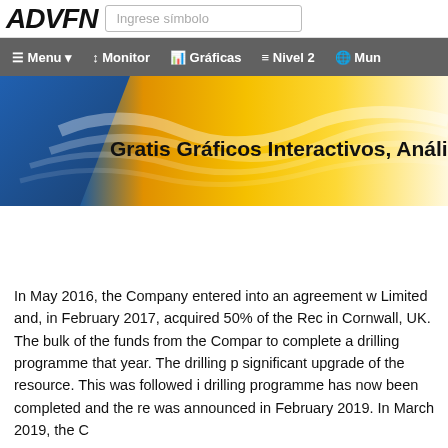ADVFN | Ingrese símbolo
Menu | Monitor | Gráficas | Nivel 2 | Mun
[Figure (illustration): ADVFN banner with gradient background in blue and gold/yellow with wave patterns, text reading: Gratis Gráficos Interactivos, Análisis Técr]
In May 2016, the Company entered into an agreement w Limited and, in February 2017, acquired 50% of the Rec in Cornwall, UK. The bulk of the funds from the Compar to complete a drilling programme that year. The drilling p significant upgrade of the resource. This was followed i drilling programme has now been completed and the re was announced in February 2019. In March 2019, the C